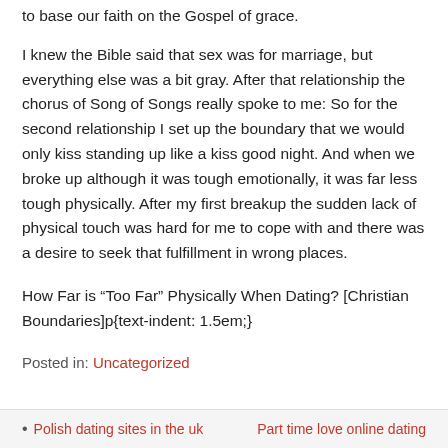to base our faith on the Gospel of grace.
I knew the Bible said that sex was for marriage, but everything else was a bit gray. After that relationship the chorus of Song of Songs really spoke to me: So for the second relationship I set up the boundary that we would only kiss standing up like a kiss good night. And when we broke up although it was tough emotionally, it was far less tough physically. After my first breakup the sudden lack of physical touch was hard for me to cope with and there was a desire to seek that fulfillment in wrong places.
How Far is “Too Far” Physically When Dating? [Christian Boundaries]p{text-indent: 1.5em;}
Posted in: Uncategorized
Polish dating sites in the uk | Part time love online dating